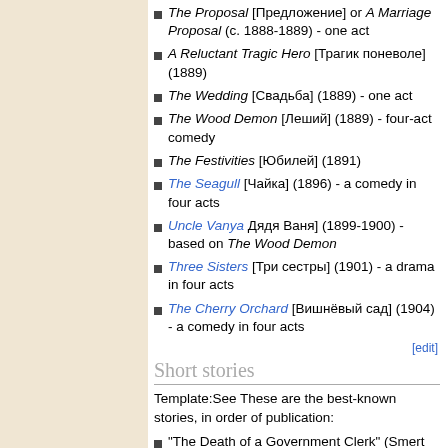The Proposal [Предложение] or A Marriage Proposal (c. 1888-1889) - one act
A Reluctant Tragic Hero [Трагик поневоле] (1889)
The Wedding [Свадьба] (1889) - one act
The Wood Demon [Леший] (1889) - four-act comedy
The Festivities [Юбилей] (1891)
The Seagull [Чайка] (1896) - a comedy in four acts
Uncle Vanya Дядя Ваня] (1899-1900) - based on The Wood Demon
Three Sisters [Три сестры] (1901) - a drama in four acts
The Cherry Orchard [Вишнёвый сад] (1904) - a comedy in four acts
[edit]
Short stories
Template:See These are the best-known stories, in order of publication:
"The Death of a Government Clerk" (Smert chinovnika) (1883) [Смерть чиновника]